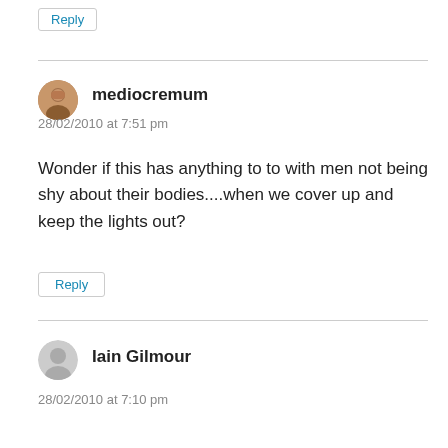Reply
mediocremum
28/02/2010 at 7:51 pm
Wonder if this has anything to to with men not being shy about their bodies....when we cover up and keep the lights out?
Reply
Iain Gilmour
28/02/2010 at 7:10 pm